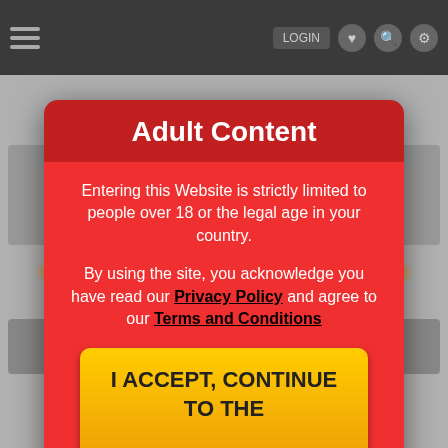[Figure (screenshot): Dark navigation top bar with hamburger menu on left and icons (login button, heart, search, settings) on right]
Adult Content
Entering this Website is strictly limited to people over 18 or the legal age in your country.
By using the site, you acknowledge you have read our Privacy Policy and agree to our Terms and Conditions
I ACCEPT, CONTINUE TO THE WEBSITE
[Figure (screenshot): Blurred website content visible behind modal, showing blurred orange text titles and thumbnail images at bottom]